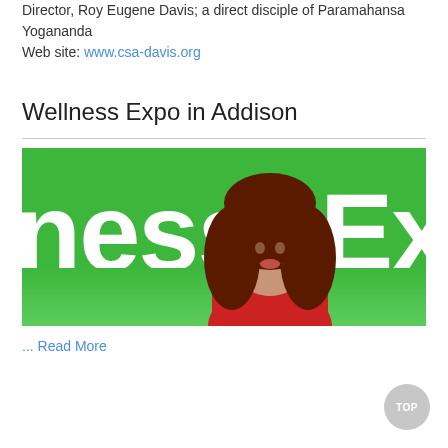Director, Roy Eugene Davis; a direct disciple of Paramahansa Yogananda
Web site: www.csa-davis.org
Wellness Expo in Addison
[Figure (photo): Wellness Expo promotional banner image showing a woman with curly brown hair wearing a red shirt against a green background with large white text reading 'ness Ex']
... Read More